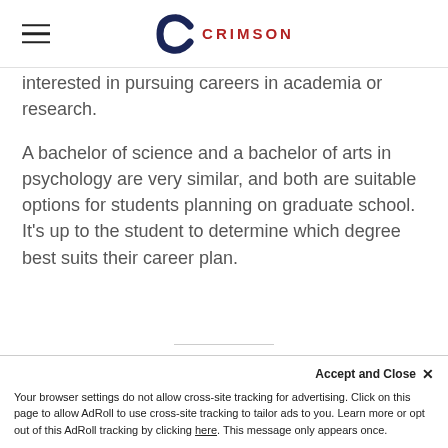CRIMSON
interested in pursuing careers in academia or research.
A bachelor of science and a bachelor of arts in psychology are very similar, and both are suitable options for students planning on graduate school. It's up to the student to determine which degree best suits their career plan.
Need help deciding whether psychology is the right degree for you? Book a free consultation with one of our academic advisors to get you started on your future career goals!
Accept and Close ×
Your browser settings do not allow cross-site tracking for advertising. Click on this page to allow AdRoll to use cross-site tracking to tailor ads to you. Learn more or opt out of this AdRoll tracking by clicking here. This message only appears once.